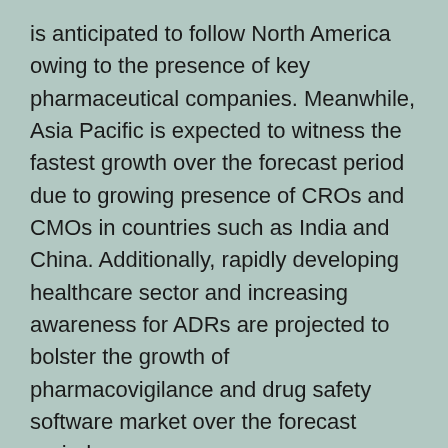is anticipated to follow North America owing to the presence of key pharmaceutical companies. Meanwhile, Asia Pacific is expected to witness the fastest growth over the forecast period due to growing presence of CROs and CMOs in countries such as India and China. Additionally, rapidly developing healthcare sector and increasing awareness for ADRs are projected to bolster the growth of pharmacovigilance and drug safety software market over the forecast period.
Key Market Players